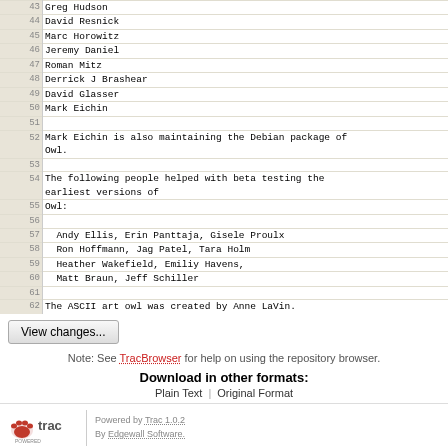| line | content |
| --- | --- |
| 43 | Greg Hudson |
| 44 | David Resnick |
| 45 | Marc Horowitz |
| 46 | Jeremy Daniel |
| 47 | Roman Mitz |
| 48 | Derrick J Brashear |
| 49 | David Glasser |
| 50 | Mark Eichin |
| 51 |  |
| 52 | Mark Eichin is also maintaining the Debian package of
Owl. |
| 53 |  |
| 54 | The following people helped with beta testing the
earliest versions of |
| 55 | Owl: |
| 56 |  |
| 57 |   Andy Ellis, Erin Panttaja, Gisele Proulx |
| 58 |   Ron Hoffmann, Jag Patel, Tara Holm |
| 59 |   Heather Wakefield, Emiliy Havens, |
| 60 |   Matt Braun, Jeff Schiller |
| 61 |  |
| 62 | The ASCII art owl was created by Anne LaVin. |
View changes...
Note: See TracBrowser for help on using the repository browser.
Download in other formats:
Plain Text | Original Format
[Figure (logo): Trac powered logo with red paw prints]
Powered by Trac 1.0.2
By Edgewall Software.
The photo in the BarnOwl logo is from Steve Brace on Flickr and used under CC-BY